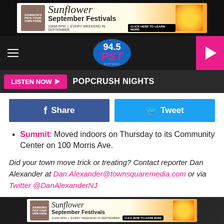[Figure (screenshot): Top banner advertisement for Johnson's Pick-Your-Own Farm Sunflower September Festivals. 10AM-5PM | EVERY WEEKEND IN SEPTEMBER. CLICK HERE TO LEARN MORE.]
[Figure (logo): 94.5 PST radio station navigation bar with hamburger menu, logo, and pink play button]
LISTEN NOW ▶  POPCRUSH NIGHTS
[Figure (infographic): Social sharing buttons: Facebook Share and Twitter Tweet buttons]
Summit: Moved indoors on Thursday to its Community Center on 100 Morris Ave.
Did your town move trick or treating? Contact reporter Dan Alexander at Dan.Alexander@townsquaremedia.com or via Twitter @DanAlexanderNJ
Dan Zarrow and Sofia Solimando contributed to this report
[Figure (screenshot): Bottom banner advertisement for Johnson's Pick-Your-Own Farm Sunflower September Festivals. 10AM-5PM | EVERY WEEKEND IN SEPTEMBER. CLICK HERE TO LEARN MORE.]